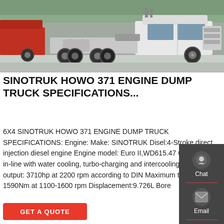[Figure (photo): White Sinotruk Howo tractor truck photographed from the side in a parking/yard area. The truck is a heavy-duty 6x4 tractor unit with a white cab, large fuel tanks on the side, and dual rear axles with large tires.]
SINOTRUK HOWO 371 ENGINE DUMP TRUCK SPECIFICATIONS...
6X4 SINOTRUK HOWO 371 ENGINE DUMP TRUCK SPECIFICATIONS: Engine: Make: SINOTRUK Disel:4-Stroke direct injection diesel engine Engine model: Euro II,WD615.47 6-cylinder in-line with water cooling, turbo-charging and intercooling Maximum output: 3710hp at 2200 rpm according to DIN Maximum torque: 1590Nm at 1100-1600 rpm Displacement:9.726L Bore
GET A QUOTE